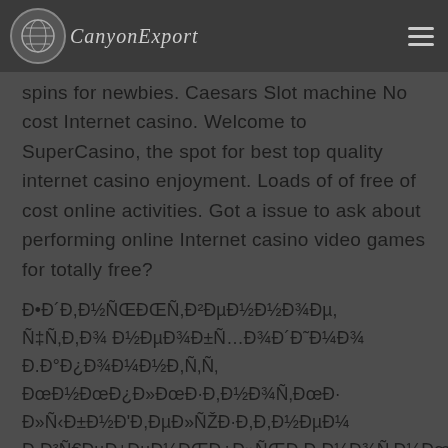CanyonExport
spins for newbies. Caesars Slot machine No cost Internet casino. Welcome to SuperCasino, the spot for best top quality internet casino enjoyment. Loads of of free of cost online activities. Got a issue to ask about performing online Internet casino video games for totally free?
Đ•Đ´Đ,Đ½ÑŒÑ,Đ²ĐµĐ½Đ½Đ¾Đµ, Ñ‡Ñ,Đ¾ Đ½ĐµĐ¾Đ±Ñ…Đ¾Đ´Đ˜Đ¼Đ¾ Đ.Đ°Đ¿Đ¾Đ¼Đ½Đ,Ñ‚Ñ Đ»Ñ‹Đ±Đ½Đ'Đ,ĐµĐ»ÑŽĐ·Đ,Đ,Đ½ĐµĐ¼ Đ,Đ³Ñ€ĐµĐ±ĐµĐ½ĐŒĐ¿Đ»ÑŒĐ·Đ,Đ½Đ¾Ñ‚Đ¼ĐœĐ·Đ,Đ½ĐŒÑˆ Đ,Đ³ÑƒĐ½Đ'ĐœĐ¾ĐŒĐ¾Ñ‚ĐœĐ² Đ´Đ'Ñ‹ĐœĐ·ĐµÑ… Đ²Ñ‹Đ'ĐœĐ»ĐœĐ´ĐµÑ€ĐœĐ² ĐœĐ´Đ¾ĐœĐ² Đ´Đ¾Đ²ĐœĐ»ĐµĐ½Đ,Đ¼ŃĐµĐ'Đ.Đ²Đ»ĐµĐ½ÑˆĐ¸Đ¼Đ½Đ,Đ¹,